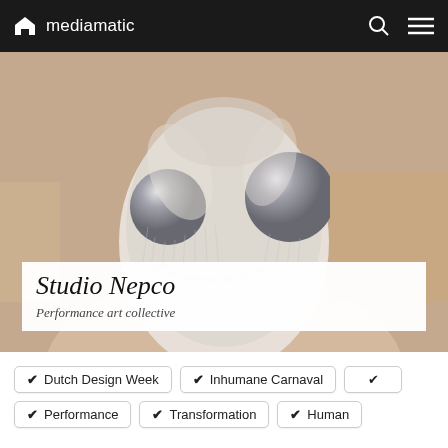mediamatic
[Figure (photo): Close-up photo of a person wearing an elaborate silver insect-like mask with large spherical metallic eyes, white feathers, spiky details, and hanging chains/jewelry against a beige background.]
Studio Nepco
Performance art collective
✔ Dutch Design Week
✔ Inhumane Carnaval
✔
✔ Performance
✔ Transformation
✔ Human